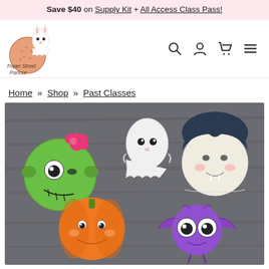Save $40 on Supply Kit + All Access Class Pass!
[Figure (logo): Paper Street Parlour logo with cartoon cookie and ghost bunny character]
Home » Shop » Past Classes
[Figure (photo): Halloween decorated sugar cookies on a dark wood surface: green monster girl, white ghost, vampire, orange pumpkin, and purple bat cookies with cute kawaii faces]